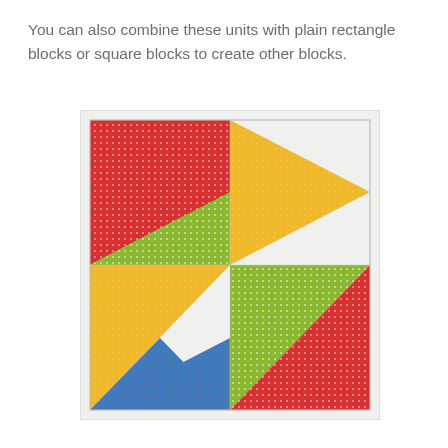You can also combine these units with plain rectangle blocks or square blocks to create other blocks.
[Figure (illustration): A quilt block made of flying geese / pinwheel triangle units in four colors (red with white dots, green with white dots, blue/teal floral, and yellow), arranged on a white background to form a pinwheel-style pattern in a 4x4 triangle grid within a square block.]